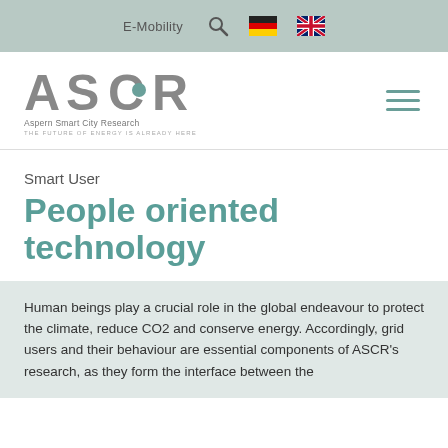E-Mobility
[Figure (logo): ASCR Aspern Smart City Research logo with tagline THE FUTURE OF ENERGY IS ALREADY HERE]
Smart User
People oriented technology
Human beings play a crucial role in the global endeavour to protect the climate, reduce CO2 and conserve energy. Accordingly, grid users and their behaviour are essential components of ASCR's research, as they form the interface between the